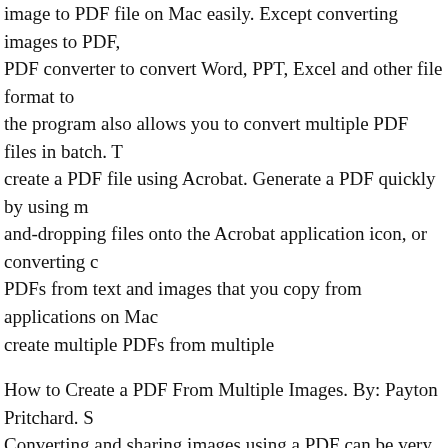image to PDF file on Mac easily. Except converting images to PDF, the PDF converter to convert Word, PPT, Excel and other file format to PDF, the program also allows you to convert multiple PDF files in batch. To create a PDF file using Acrobat. Generate a PDF quickly by using me and-dropping files onto the Acrobat application icon, or converting c PDFs from text and images that you copy from applications on Mac create multiple PDFs from multiple
How to Create a PDF From Multiple Images. By: Payton Pritchard. S Converting and sharing images using a PDF can be very efficient, es through email. Multiple image files can be merged into one PDF. Cli PDF, then click "Select." The "Insert Pages" window will open. Aug will show you step by step how to merge (combine) multiple JPEG, PDF file in Windows 10 without …
PDF Online is a set of free web-based PDF creation and PDF conver best PDF SDK - API (works with C++, ASP, .NET, Java, etc). PDF-t PDF, Merge PDF - All in one package! Download Trial. PDF-to-Wor Converter to convert PDF to editable Word format. Sep 02, 2016 · Ja to a single PDF using PDFBox. However, my requirement is to mer